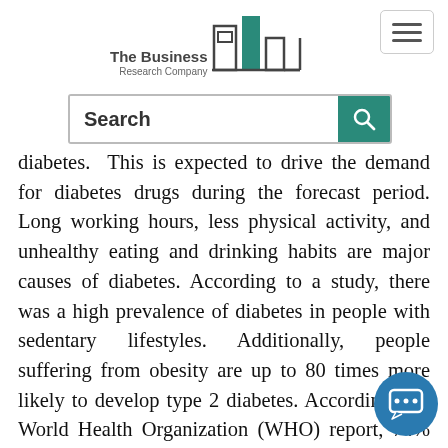[Figure (logo): The Business Research Company logo with building bar chart icon]
[Figure (other): Search bar with teal search button and magnifying glass icon]
diabetes. This is expected to drive the demand for diabetes drugs during the forecast period. Long working hours, less physical activity, and unhealthy eating and drinking habits are major causes of diabetes. According to a study, there was a high prevalence of diabetes in people with sedentary lifestyles. Additionally, people suffering from obesity are up to 80 times more likely to develop type 2 diabetes. According to a World Health Organization (WHO) report, 74% of men and 64% of women in the UK, for instance, are expected to be overweight by 2030. These factors are expected to increase the patient pool of diabetes, thereby likely to drive the diabetes therapies